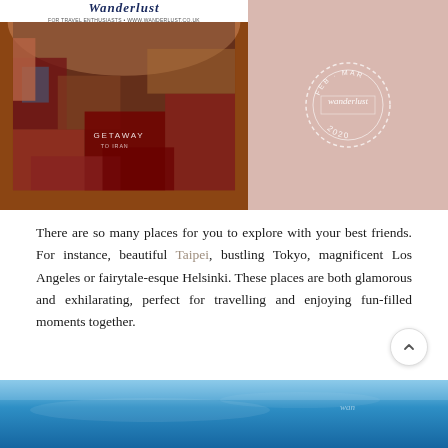[Figure (photo): Wanderlust magazine cover showing a carpet shop interior with colorful rugs and a pink panel on the right with a circular stamp badge reading FEB-MAR wanderlust 2020]
There are so many places for you to explore with your best friends. For instance, beautiful Taipei, bustling Tokyo, magnificent Los Angeles or fairytale-esque Helsinki. These places are both glamorous and exhilarating, perfect for travelling and enjoying fun-filled moments together.
[Figure (photo): Blue water/ocean image partially visible at the bottom of the page]